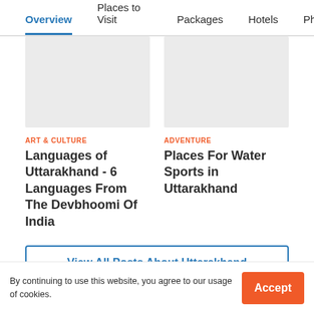Overview | Places to Visit | Packages | Hotels | Ph
[Figure (photo): Gray placeholder image for Art & Culture article]
[Figure (photo): Gray placeholder image for Adventure article]
ART & CULTURE
ADVENTURE
Languages of Uttarakhand - 6 Languages From The Devbhoomi Of India
Places For Water Sports in Uttarakhand
View All Posts About Uttarakhand
By continuing to use this website, you agree to our usage of cookies.